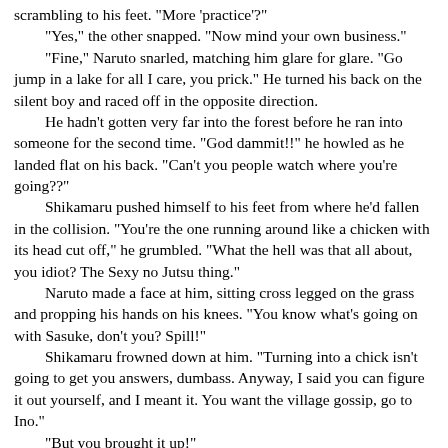scrambling to his feet. "More 'practice'?"
"Yes," the other snapped. "Now mind your own business."
"Fine," Naruto snarled, matching him glare for glare. "Go jump in a lake for all I care, you prick." He turned his back on the silent boy and raced off in the opposite direction.
He hadn't gotten very far into the forest before he ran into someone for the second time. "God dammit!!" he howled as he landed flat on his back. "Can't you people watch where you're going??"
Shikamaru pushed himself to his feet from where he'd fallen in the collision. "You're the one running around like a chicken with its head cut off," he grumbled. "What the hell was that all about, you idiot? The Sexy no Jutsu thing."
Naruto made a face at him, sitting cross legged on the grass and propping his hands on his knees. "You know what's going on with Sasuke, don't you? Spill!"
Shikamaru frowned down at him. "Turning into a chick isn't going to get you answers, dumbass. Anyway, I said you can figure it out yourself, and I meant it. You want the village gossip, go to Ino."
"But you brought it up!"
"Barely. Just drop it, would ya?"
"Would Sakura-chan know?" Naruto asked quickly.
His friend gave an indifferent shrug. "I dunno."
Naruto leapt to his feet lithely. "I'm gonna ask her. Since